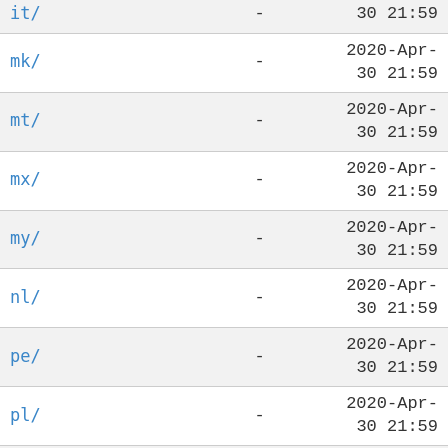| Name | Size | Last Modified |
| --- | --- | --- |
| it/ | - | 30 21:59 |
| mk/ | - | 2020-Apr-30 21:59 |
| mt/ | - | 2020-Apr-30 21:59 |
| mx/ | - | 2020-Apr-30 21:59 |
| my/ | - | 2020-Apr-30 21:59 |
| nl/ | - | 2020-Apr-30 21:59 |
| pe/ | - | 2020-Apr-30 21:59 |
| pl/ | - | 2020-Apr-30 21:59 |
| pt/ | - | 2020-Apr-30 21:59 |
| (partial) | - | 2020-Apr- |